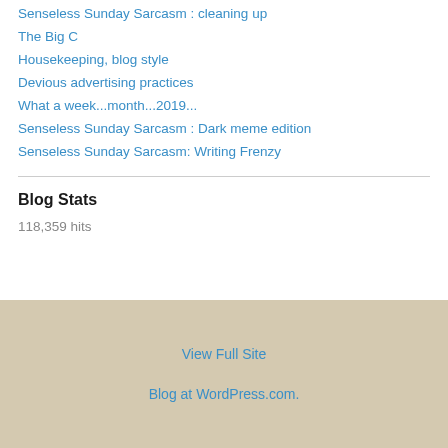Senseless Sunday Sarcasm : cleaning up
The Big C
Housekeeping, blog style
Devious advertising practices
What a week...month...2019...
Senseless Sunday Sarcasm : Dark meme edition
Senseless Sunday Sarcasm:  Writing Frenzy
Blog Stats
118,359 hits
View Full Site
Blog at WordPress.com.